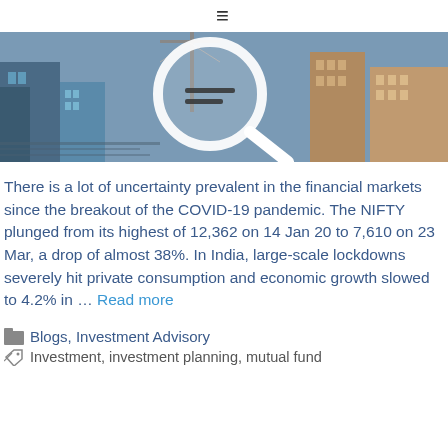≡
[Figure (photo): Hero banner image showing a cityscape/construction site aerial view with a large magnifying glass overlay, blue and warm toned]
There is a lot of uncertainty prevalent in the financial markets since the breakout of the COVID-19 pandemic. The NIFTY plunged from its highest of 12,362 on 14 Jan 20 to 7,610 on 23 Mar, a drop of almost 38%. In India, large-scale lockdowns severely hit private consumption and economic growth slowed to 4.2% in … Read more
Blogs, Investment Advisory
Investment, investment planning, mutual fund